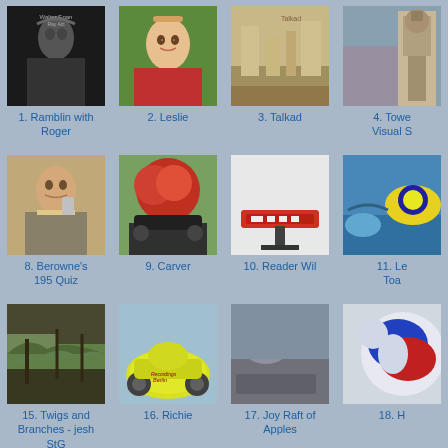[Figure (photo): Black and white portrait photo - album cover 'Walter Egan Ray Act']
1. Ramblin with Roger
[Figure (photo): Woman with glasses and blonde hair smiling, wearing red top]
2. Leslie
[Figure (photo): Temple/ruins with columns and stone architecture, text 'Talkad' visible]
3. Talkad
[Figure (photo): Tower or church building]
4. Towe Visual S
[Figure (photo): Middle-aged man talking on phone]
8. Berowne's 195 Quiz
[Figure (photo): Bright red autumn tree with black SUV parked underneath]
9. Carver
[Figure (photo): Red electronic device/reader on a stand against white background]
10. Reader Wil
[Figure (photo): Person kayaking in water with colorful kayak]
11. Le Toa
[Figure (photo): Close-up of tree bark, moss and branches]
15. Twigs and Branches - jesh StG
[Figure (photo): Yellow VW Beetle car with person inside, Recordings Belin lettering]
16. Richie
[Figure (photo): Cyclists riding in rain on wet street]
17. Joy Raft of Apples
[Figure (photo): Colorful abstract art or sphere with blue and red shapes]
18. H